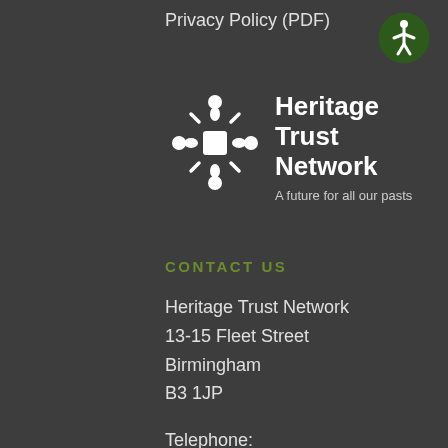Privacy Policy (PDF)
[Figure (logo): Accessibility icon - circle with person symbol on dark green background]
[Figure (logo): Heritage Trust Network logo - white snowflake/cross symbol with people figures, beside text Heritage Trust Network and tagline A future for all our pasts]
CONTACT US
Heritage Trust Network
13-15 Fleet Street
Birmingham
B3 1JP
Telephone:
0121 233 9283
Email: